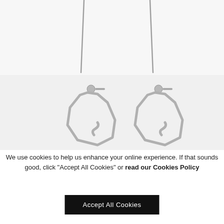[Figure (photo): Top portion of silver hoop earrings on white background, showing hooks/wires at top]
[Figure (photo): Two silver geometric hexagonal hoop earrings with ball-end posts, shown side by side on white background]
We use cookies to help us enhance your online experience. If that sounds good, click “Accept All Cookies” or read our Cookies Policy
Accept All Cookies